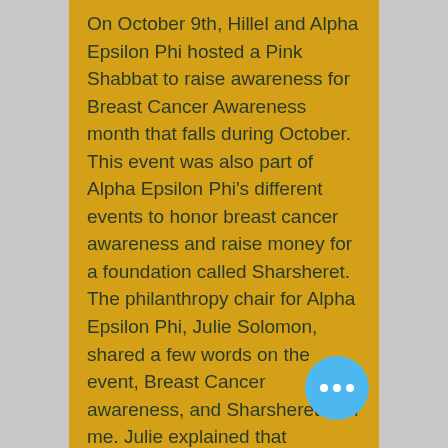On October 9th, Hillel and Alpha Epsilon Phi hosted a Pink Shabbat to raise awareness for Breast Cancer Awareness month that falls during October. This event was also part of Alpha Epsilon Phi's different events to honor breast cancer awareness and raise money for a foundation called Sharsheret. The philanthropy chair for Alpha Epsilon Phi, Julie Solomon, shared a few words on the event, Breast Cancer awareness, and Sharsheret with me. Julie explained that Sharsheret is a national non-profit organization supporting women and their families facing breast cancer. What makes this organization unique is it is dedicated to these women fighting breast cancer with Jewish backgrounds